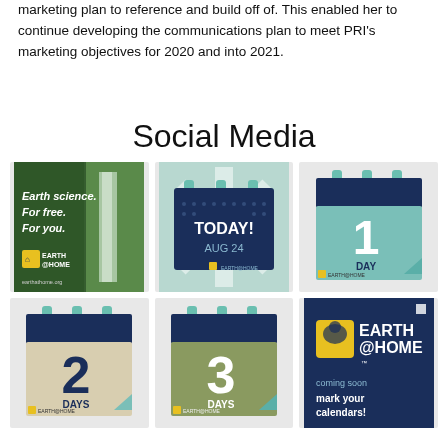marketing plan to reference and build off of. This enabled her to continue developing the communications plan to meet PRI's marketing objectives for 2020 and into 2021.
Social Media
[Figure (illustration): 3x2 grid of social media graphics for Earth@Home campaign, including a waterfall photo with text 'Earth science. For free. For you.', countdown calendar graphics showing TODAY! AUG 24, 1 DAY, 2 DAYS, 3 DAYS, and an Earth@Home logo card saying 'coming soon mark your calendars!']